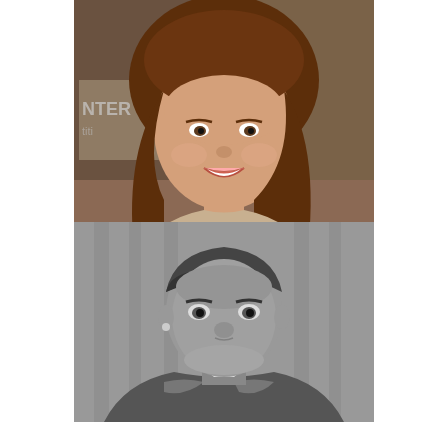[Figure (photo): Color photo of Giada De Laurentiis, a woman with long auburn hair, smiling, wearing a patterned jacket, at an event with text visible in background.]
Giada De Laurentiis
(52) 1970
[Figure (photo): Black and white photo of Christopher Williams, a man wearing a shiny jacket, looking at the camera with a serious expression.]
Christopher Williams
(55) 1967